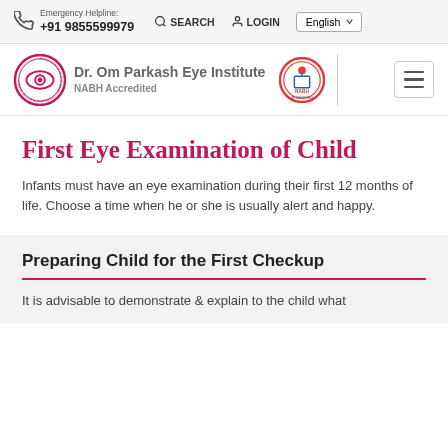Emergency Helpline: +91 9855599979  SEARCH  LOGIN  English
[Figure (logo): Dr. Om Parkash Eye Institute NABH Accredited logo with circular eye institute emblem and NABH accreditation badge]
First Eye Examination of Child
Infants must have an eye examination during their first 12 months of life. Choose a time when he or she is usually alert and happy.
Preparing Child for the First Checkup
It is advisable to demonstrate & explain to the child what